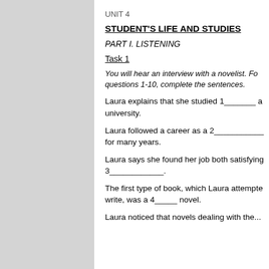UNIT 4
STUDENT'S LIFE AND STUDIES
PART I. LISTENING
Task 1
You will hear an interview with a novelist. For questions 1-10, complete the sentences.
Laura explains that she studied 1_______ at university.
Laura followed a career as a 2___________ for many years.
Laura says she found her job both satisfying and 3_____________.
The first type of book, which Laura attempted to write, was a 4_____ novel.
Laura noticed that novels dealing with the...